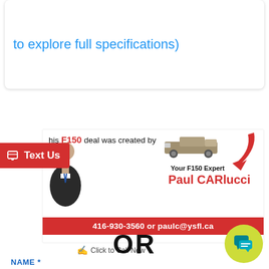to explore full specifications)
[Figure (infographic): Car dealership ad banner: 'This F150 deal was created by' with truck image, red arrow, salesperson photo, text 'Your F150 Expert Paul CARlucci', red contact bar '416-930-3560 or paulc@ysfl.ca']
[Figure (infographic): Red Text Us button with phone icon on left side]
Click to Call Now
OR
[Figure (infographic): Green chat bubble icon in bottom right corner]
NAME *